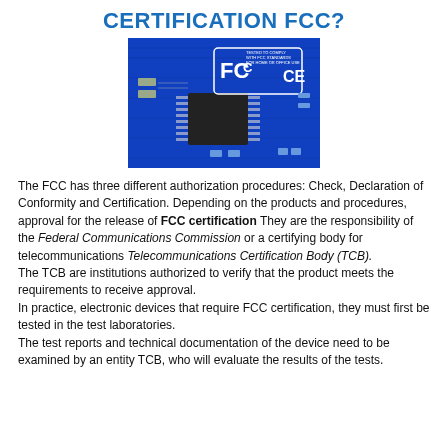CERTIFICATION FCC?
[Figure (photo): Close-up photo of a blue circuit board/PCB chip with FCC and CE certification labels printed on it. Text reads: TESTED TO COMPLY WITH FCC STANDARDS FOR HOME OR OFFICE USE]
The FCC has three different authorization procedures: Check, Declaration of Conformity and Certification. Depending on the products and procedures, approval for the release of FCC certification They are the responsibility of the Federal Communications Commission or a certifying body for telecommunications Telecommunications Certification Body (TCB). The TCB are institutions authorized to verify that the product meets the requirements to receive approval. In practice, electronic devices that require FCC certification, they must first be tested in the test laboratories. The test reports and technical documentation of the device need to be examined by an entity TCB, who will evaluate the results of the tests.